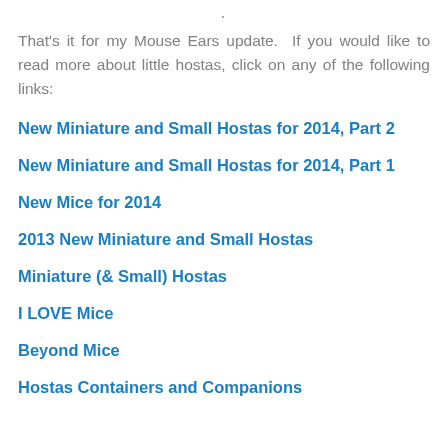That's it for my Mouse Ears update. If you would like to read more about little hostas, click on any of the following links:
New Miniature and Small Hostas for 2014, Part 2
New Miniature and Small Hostas for 2014, Part 1
New Mice for 2014
2013 New Miniature and Small Hostas
Miniature (& Small) Hostas
I LOVE Mice
Beyond Mice
Hostas Containers and Companions